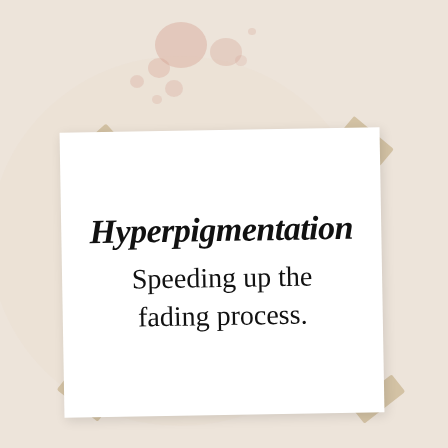[Figure (illustration): A white note paper taped with four pieces of beige masking tape at the corners, placed on a warm beige/cream background with pinkish paint splatter spots in the upper area. The note contains script and sans-serif text about hyperpigmentation.]
Hyperpigmentation
Speeding up the fading process.